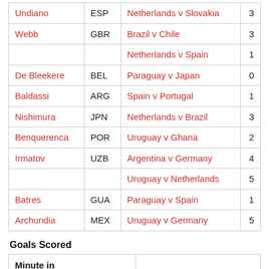| Name | Country | Match | Value |
| --- | --- | --- | --- |
| Undiano | ESP | Netherlands v Slovakia | 3 |
| Webb | GBR | Brazil v Chile | 3 |
|  |  | Netherlands v Spain | 1 |
| De Bleekere | BEL | Paraguay v Japan | 0 |
| Baldassi | ARG | Spain v Portugal | 1 |
| Nishimura | JPN | Netherlands v Brazil | 3 |
| Benquerenca | POR | Uruguay v Ghana | 2 |
| Irmatov | UZB | Argentina v Germany | 4 |
|  |  | Uruguay v Netherlands | 5 |
| Batres | GUA | Paraguay v Spain | 1 |
| Archundia | MEX | Uruguay v Germany | 5 |
Goals Scored
| Minute in |  |
| --- | --- |